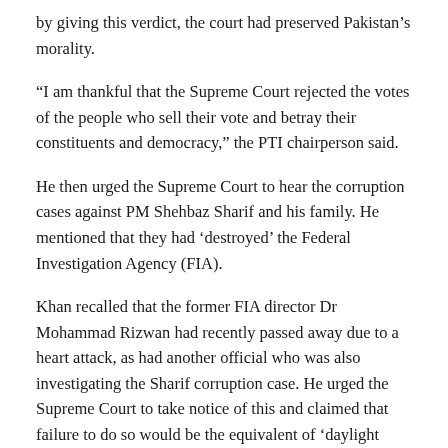by giving this verdict, the court had preserved Pakistan's morality.
“I am thankful that the Supreme Court rejected the votes of the people who sell their vote and betray their constituents and democracy,” the PTI chairperson said.
He then urged the Supreme Court to hear the corruption cases against PM Shehbaz Sharif and his family. He mentioned that they had ‘destroyed’ the Federal Investigation Agency (FIA).
Khan recalled that the former FIA director Dr Mohammad Rizwan had recently passed away due to a heart attack, as had another official who was also investigating the Sharif corruption case. He urged the Supreme Court to take notice of this and claimed that failure to do so would be the equivalent of ‘daylight robbery’.